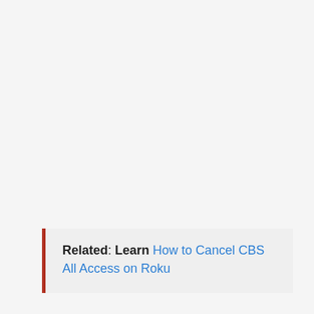Related: Learn How to Cancel CBS All Access on Roku